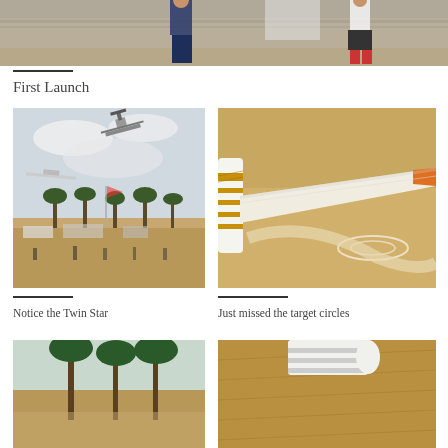[Figure (photo): Two people standing near a chain-link fence at an airfield]
First Launch
[Figure (photo): RC planes flying over an airfield with palm trees and parked vehicles below]
[Figure (photo): Close-up of a white and gold RC glider wing near target circles on dry ground]
Notice the Twin Star
Just missed the target circles
[Figure (photo): Partial photo showing palm trees at bottom of page]
[Figure (photo): Partial photo showing a model aircraft close-up over dry grass]